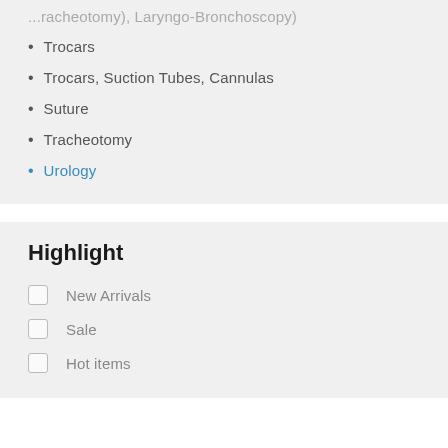Trocars
Trocars, Suction Tubes, Cannulas
Suture
Tracheotomy
Urology
Highlight
New Arrivals
Sale
Hot items